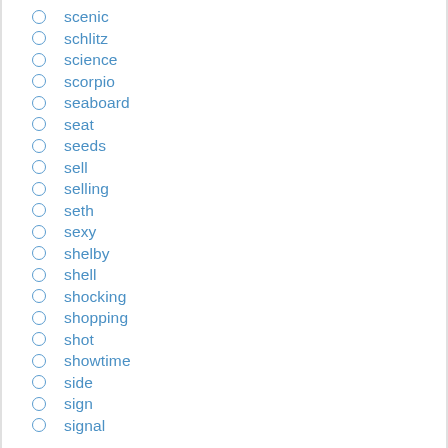scenic
schlitz
science
scorpio
seaboard
seat
seeds
sell
selling
seth
sexy
shelby
shell
shocking
shopping
shot
showtime
side
sign
signal